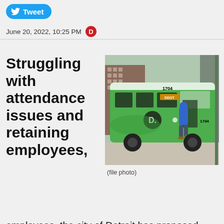Tweet
June 20, 2022, 10:25 PM
[Figure (photo): A green Detroit city bus (DDOT) numbered 1704 at a stop, with a person in a blue hoodie boarding. Urban setting with buildings in background.]
(file photo)
Struggling with attendance issues and retaining employees, the city of Detroit has proposed giving bus drivers up to $4,000 a year in bonuses for good attendance